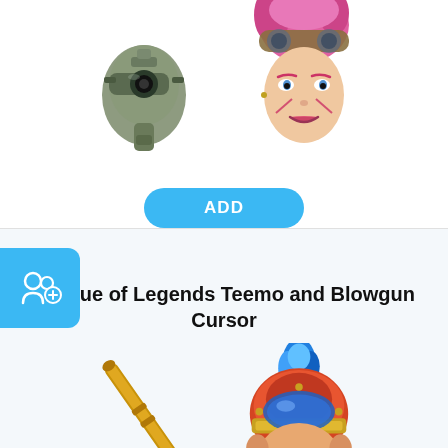[Figure (illustration): Two game character images side by side: a mechanical gun/robot from Apex Legends on the left, and Vi character from League of Legends (pink hair, goggles, face markings) on the right]
ADD
[Figure (illustration): Blue rounded square tab with add-user/community icon]
League of Legends Teemo and Blowgun Cursor
[Figure (illustration): Two game asset images: a golden blowgun/staff on the left, and Teemo character head wearing a colorful helmet with blue flame on top on the right]